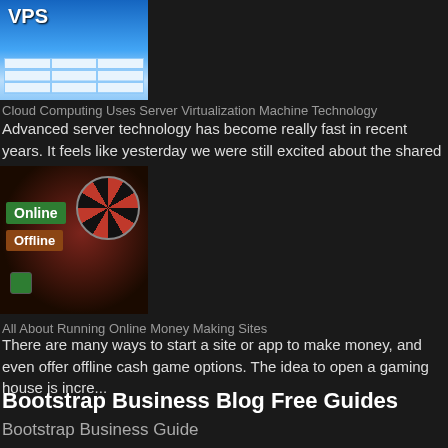[Figure (illustration): VPS thumbnail image showing cloud/server virtualization diagram with blue gradient and table grid]
Cloud Computing Uses Server Virtualization Machine Technology
Advanced server technology has become really fast in recent years. It feels like yesterday we were still excited about the shared hosting in...
[Figure (photo): Casino online/offline sign image with roulette wheel and gambling elements]
All About Running Online Money Making Sites
There are many ways to start a site or app to make money, and even offer offline cash game options. The idea to open a gaming house is incre...
Bootstrap Business Blog Free Guides
Bootstrap Business Guide
Frugal Entrepreneur Guide
The $10 Digital Media Startup Guide
Website Builder Guide
Blog Monetization Guide
Martech Industry Leaders Guide